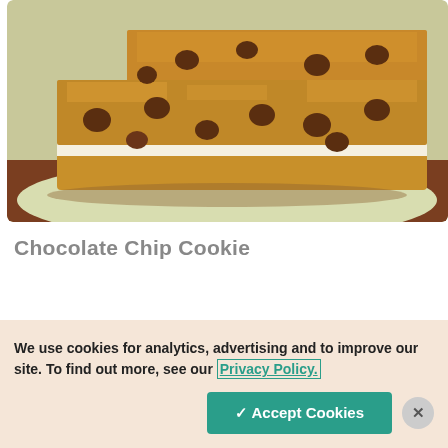[Figure (photo): Close-up photo of chocolate chip cookie bars on a light green plate, showing layered bars with chocolate chips embedded in golden brown cookie dough, on a wooden surface]
Chocolate Chip Cookie
We use cookies for analytics, advertising and to improve our site. To find out more, see our Privacy Policy.